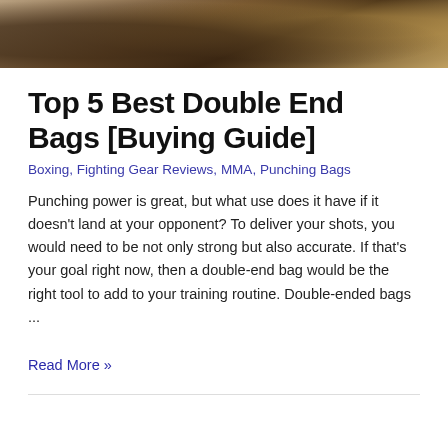[Figure (photo): Cropped photo showing boxing/fighting equipment in warm brown and golden tones, partial image at top of page]
Top 5 Best Double End Bags [Buying Guide]
Boxing, Fighting Gear Reviews, MMA, Punching Bags
Punching power is great, but what use does it have if it doesn't land at your opponent? To deliver your shots, you would need to be not only strong but also accurate. If that's your goal right now, then a double-end bag would be the right tool to add to your training routine. Double-ended bags ...
Read More »